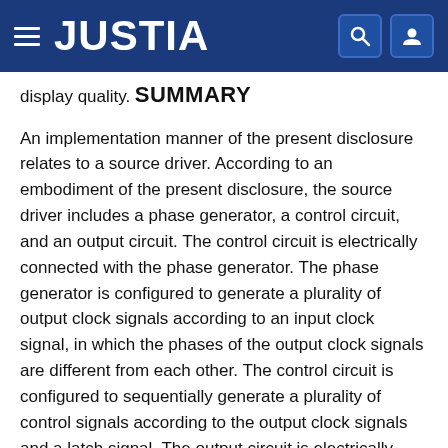JUSTIA
display quality.
SUMMARY
An implementation manner of the present disclosure relates to a source driver. According to an embodiment of the present disclosure, the source driver includes a phase generator, a control circuit, and an output circuit. The control circuit is electrically connected with the phase generator. The phase generator is configured to generate a plurality of output clock signals according to an input clock signal, in which the phases of the output clock signals are different from each other. The control circuit is configured to sequentially generate a plurality of control signals according to the output clock signals and a latch signal. The output circuit is electrically connected with the control circuit. The output circuit is